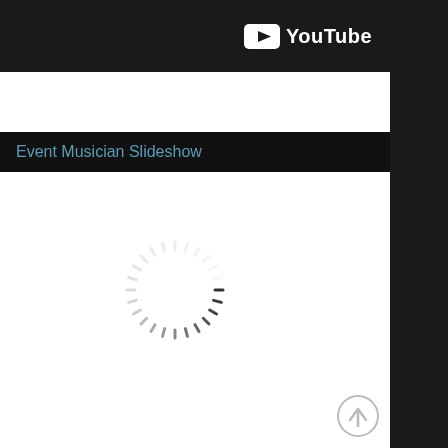[Figure (screenshot): YouTube logo and wordmark on dark bar at top of page]
Event Musician Slideshow
[Figure (other): Loading spinner (circular dashed indicator) centered in white content area]
[Figure (other): Scroll-to-top circular arrow button in bottom right corner]